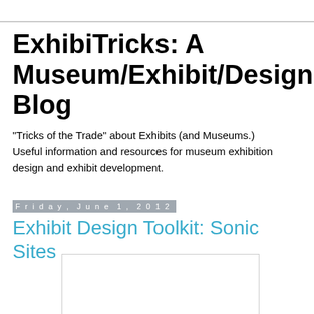ExhibiTricks: A Museum/Exhibit/Design Blog
"Tricks of the Trade" about Exhibits (and Museums.) Useful information and resources for museum exhibition design and exhibit development.
Friday, June 1, 2012
Exhibit Design Toolkit: Sonic Sites
[Figure (other): Image placeholder box, white with light gray border]